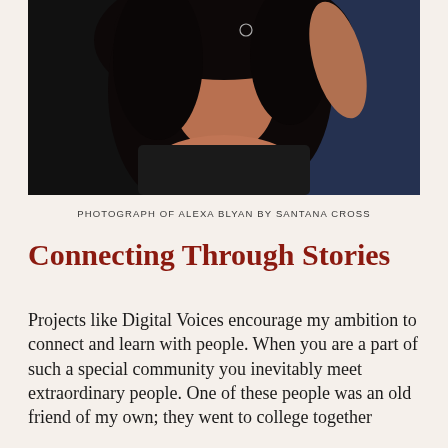[Figure (photo): Close-up portrait photo of Alexa Blyan with dark hair, wearing a dark top, photographed by Santana Cross. Background shows dark and blue tones.]
PHOTOGRAPH OF ALEXA BLYAN BY SANTANA CROSS
Connecting Through Stories
Projects like Digital Voices encourage my ambition to connect and learn with people. When you are a part of such a special community you inevitably meet extraordinary people. One of these people was an old friend of my own; they went to college together